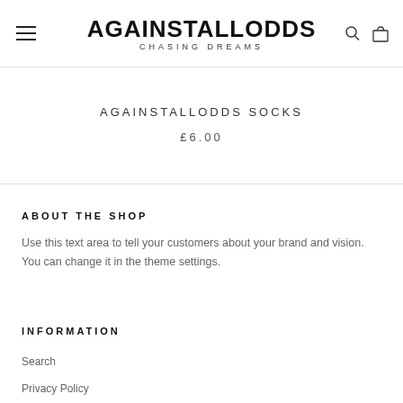AGAINSTALLODDS CHASING DREAMS
AGAINSTALLODDS SOCKS
£6.00
ABOUT THE SHOP
Use this text area to tell your customers about your brand and vision. You can change it in the theme settings.
INFORMATION
Search
Privacy Policy